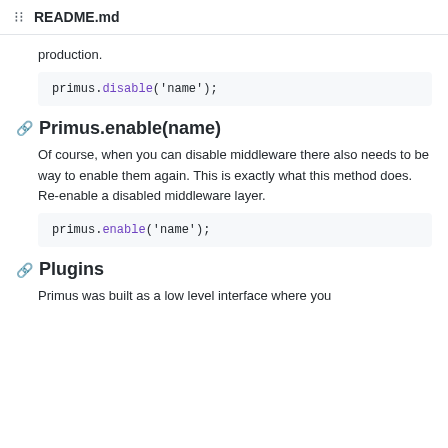README.md
production.
primus.disable('name');
Primus.enable(name)
Of course, when you can disable middleware there also needs to be way to enable them again. This is exactly what this method does. Re-enable a disabled middleware layer.
primus.enable('name');
Plugins
Primus was built as a low level interface where you